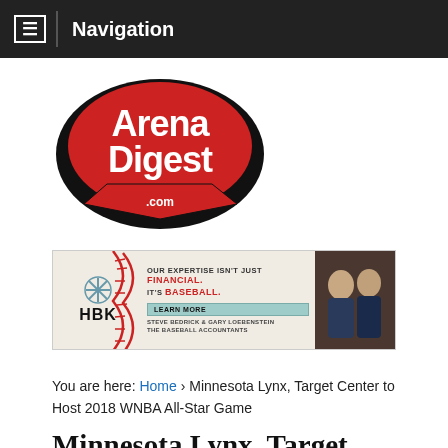≡  Navigation
[Figure (logo): Arena Digest .com logo — red oval with white text on black outline, with a red arrow/banner shape at the bottom]
[Figure (photo): HBK advertisement banner: baseball stitching graphic on left, text 'OUR EXPERTISE ISN'T JUST FINANCIAL. IT'S BASEBALL.' with 'LEARN MORE' button, 'STEVE BEDRICK & GARY LOEBENSTEIN THE BASEBALL ACCOUNTANTS', two men in suits on right]
You are here: Home › Minnesota Lynx, Target Center to Host 2018 WNBA All-Star Game
Minnesota Lynx, Target Center to